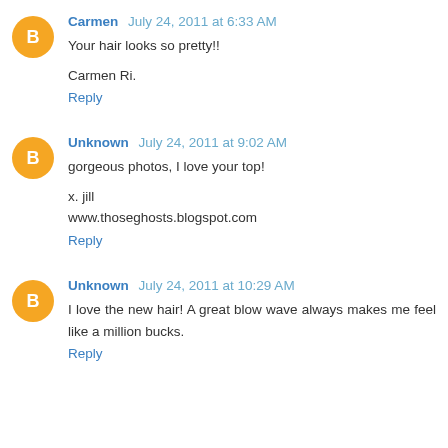Carmen July 24, 2011 at 6:33 AM
Your hair looks so pretty!!

Carmen Ri.
Reply
Unknown July 24, 2011 at 9:02 AM
gorgeous photos, I love your top!

x. jill
www.thoseghosts.blogspot.com
Reply
Unknown July 24, 2011 at 10:29 AM
I love the new hair! A great blow wave always makes me feel like a million bucks.
Reply